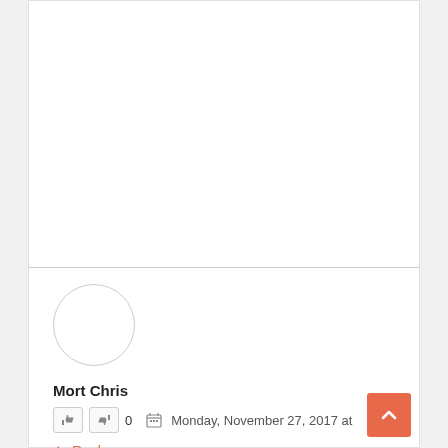[Figure (other): White empty content area / card section]
[Figure (photo): Circular avatar placeholder (white circle with gray border)]
Mort Chris
0  Monday, November 27, 2017 at
Reply